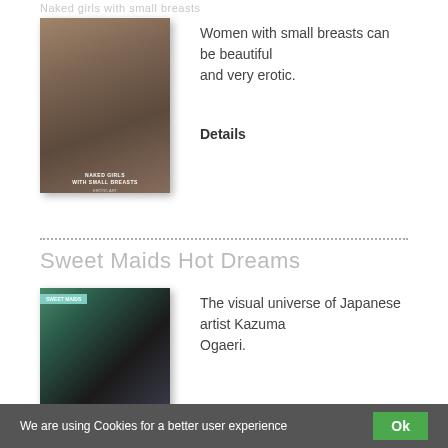Women with small breasts can be beautiful and very erotic.
[Figure (photo): Book cover for 'Naked Girls with Small Breasts' showing a woman with long dark hair]
Women with small breasts can be beautiful and very erotic.
Details
Sweet Maids Hot Dreams
[Figure (photo): Book cover for 'Sweet Maids Hot Dreams' by Japanese artist Kazuma Ogaeri, showing figures in a garden setting]
The visual universe of Japanese artist Kazuma Ogaeri.
We are using Cookies for a better user experience  Ok